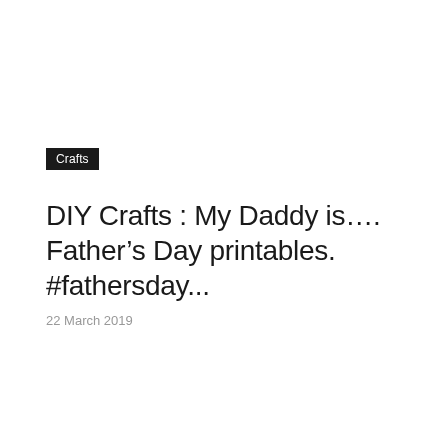Crafts
DIY Crafts : My Daddy is…. Father's Day printables. #fathersday...
22 March 2019